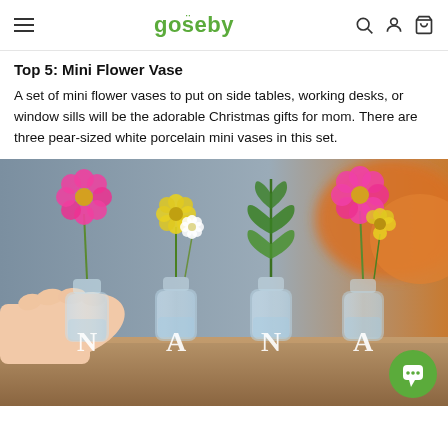goseby — navigation bar with menu, logo, search, account, cart icons
Top 5: Mini Flower Vase
A set of mini flower vases to put on side tables, working desks, or window sills will be the adorable Christmas gifts for mom. There are three pear-sized white porcelain mini vases in this set.
[Figure (photo): A hand holding one of four glass mini vases arranged in a row, each containing different flowers (pink daisy, yellow flowers with white blooms, fern leaf, pink daisy with yellow flowers). The vases have letters N, A, N, A on them. Background is blurred grey and orange. A green chat button is visible in the bottom right corner.]